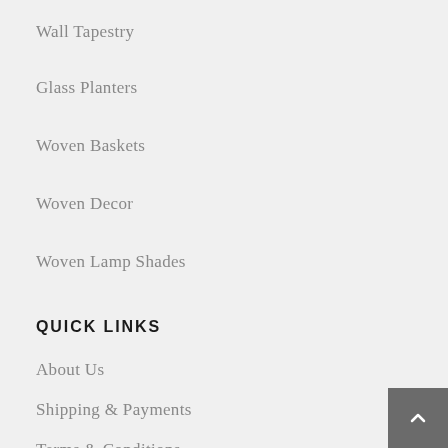Wall Tapestry
Glass Planters
Woven Baskets
Woven Decor
Woven Lamp Shades
QUICK LINKS
About Us
Shipping & Payments
Terms & Conditions